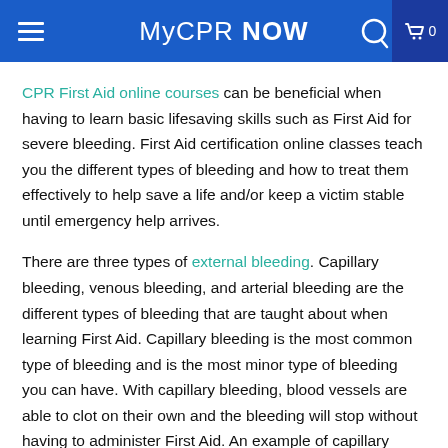MyCPR NOW
CPR First Aid online courses can be beneficial when having to learn basic lifesaving skills such as First Aid for severe bleeding. First Aid certification online classes teach you the different types of bleeding and how to treat them effectively to help save a life and/or keep a victim stable until emergency help arrives.
There are three types of external bleeding. Capillary bleeding, venous bleeding, and arterial bleeding are the different types of bleeding that are taught about when learning First Aid. Capillary bleeding is the most common type of bleeding and is the most minor type of bleeding you can have. With capillary bleeding, blood vessels are able to clot on their own and the bleeding will stop without having to administer First Aid. An example of capillary bleeding would be if a child was running at the